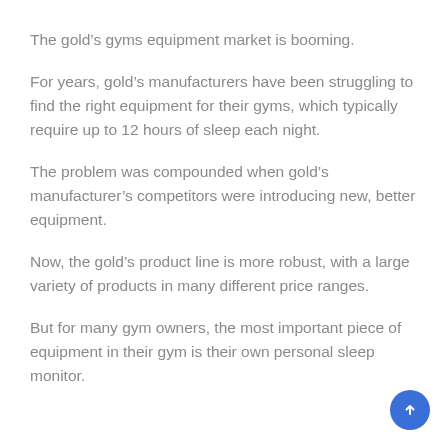The gold’s gyms equipment market is booming.
For years, gold’s manufacturers have been struggling to find the right equipment for their gyms, which typically require up to 12 hours of sleep each night.
The problem was compounded when gold’s manufacturer’s competitors were introducing new, better equipment.
Now, the gold’s product line is more robust, with a large variety of products in many different price ranges.
But for many gym owners, the most important piece of equipment in their gym is their own personal sleep monitor.